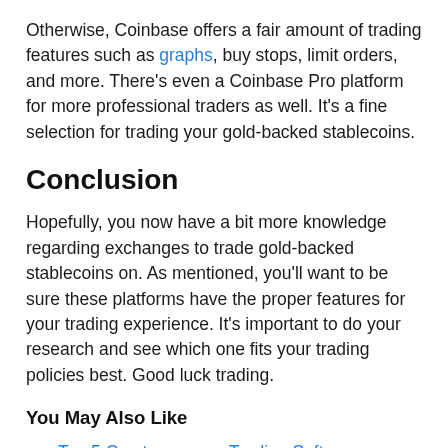Otherwise, Coinbase offers a fair amount of trading features such as graphs, buy stops, limit orders, and more. There's even a Coinbase Pro platform for more professional traders as well. It's a fine selection for trading your gold-backed stablecoins.
Conclusion
Hopefully, you now have a bit more knowledge regarding exchanges to trade gold-backed stablecoins on. As mentioned, you'll want to be sure these platforms have the proper features for your trading experience. It's important to do your research and see which one fits your trading policies best. Good luck trading.
You May Also Like
Top 5 Cryptocurrency Trading Software